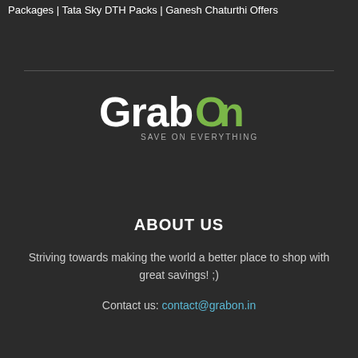Packages | Tata Sky DTH Packs | Ganesh Chaturthi Offers
[Figure (logo): GrabOn logo — white 'Grab' text and green 'On' with circular letter O, tagline 'SAVE ON EVERYTHING' below]
ABOUT US
Striving towards making the world a better place to shop with great savings! ;)
Contact us: contact@grabon.in